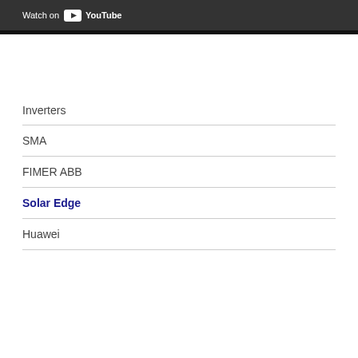[Figure (screenshot): YouTube 'Watch on YouTube' banner at the top of the page, dark grey background with white text and YouTube logo]
Inverters
SMA
FIMER ABB
Solar Edge
Huawei